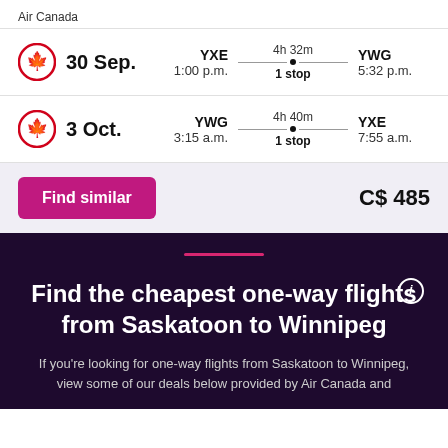Air Canada
| Date/Logo | Departure | Duration/Stops | Arrival |
| --- | --- | --- | --- |
| 30 Sep. | YXE
1:00 p.m. | 4h 32m
1 stop | YWG
5:32 p.m. |
| 3 Oct. | YWG
3:15 a.m. | 4h 40m
1 stop | YXE
7:55 a.m. |
Find similar
C$ 485
Find the cheapest one-way flights from Saskatoon to Winnipeg
If you're looking for one-way flights from Saskatoon to Winnipeg, view some of our deals below provided by Air Canada and